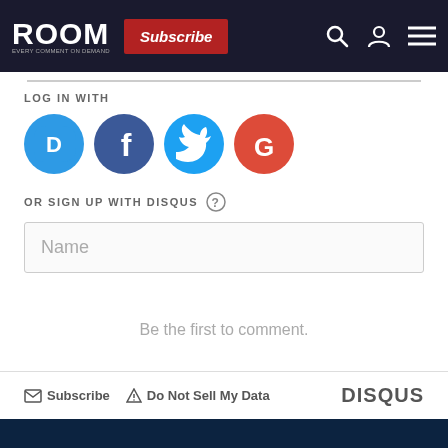ROOM — Subscribe — Navigation icons (search, user, menu)
LOG IN WITH
[Figure (other): Social login icons: Disqus (blue), Facebook (dark blue), Twitter (light blue), Google (red)]
OR SIGN UP WITH DISQUS
Name
Be the first to comment.
Subscribe  Do Not Sell My Data  DISQUS
Home    Advertising